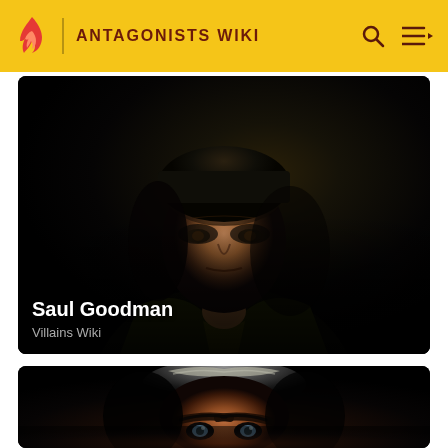ANTAGONISTS WIKI
[Figure (photo): Dark portrait photo of Saul Goodman (Bob Odenkirk) from Better Call Saul, dramatic low-key lighting, wearing a suit]
Saul Goodman
Villains Wiki
[Figure (photo): Dark dramatic close-up portrait of a man with slicked silver-grey hair and intense eyes, looking menacingly at camera]